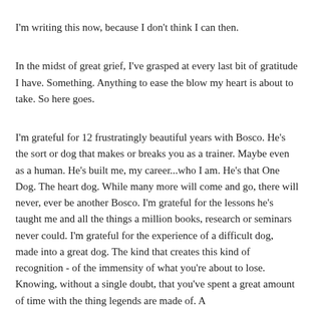I'm writing this now, because I don't think I can then.
In the midst of great grief, I've grasped at every last bit of gratitude I have. Something. Anything to ease the blow my heart is about to take. So here goes.
I'm grateful for 12 frustratingly beautiful years with Bosco. He's the sort or dog that makes or breaks you as a trainer. Maybe even as a human. He's built me, my career...who I am. He's that One Dog. The heart dog. While many more will come and go, there will never, ever be another Bosco. I'm grateful for the lessons he's taught me and all the things a million books, research or seminars never could. I'm grateful for the experience of a difficult dog, made into a great dog. The kind that creates this kind of recognition - of the immensity of what you're about to lose. Knowing, without a single doubt, that you've spent a great amount of time with the thing legends are made of. A